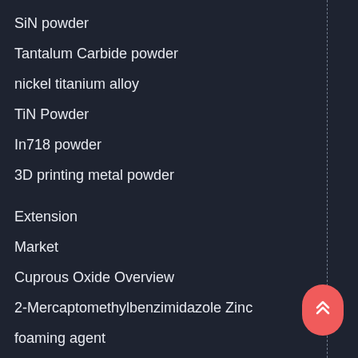SiN powder
Tantalum Carbide powder
nickel titanium alloy
TiN Powder
In718 powder
3D printing metal powder
Extension
Market
Cuprous Oxide Overview
2-Mercaptomethylbenzimidazole Zinc
foaming agent
concrete foaming agents
TiC powder